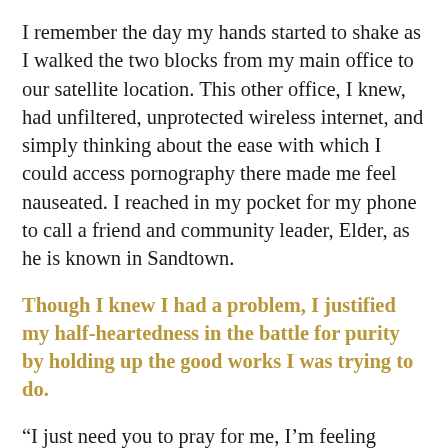I remember the day my hands started to shake as I walked the two blocks from my main office to our satellite location. This other office, I knew, had unfiltered, unprotected wireless internet, and simply thinking about the ease with which I could access pornography there made me feel nauseated. I reached in my pocket for my phone to call a friend and community leader, Elder, as he is known in Sandtown.
Though I knew I had a problem, I justified my half-heartedness in the battle for purity by holding up the good works I was trying to do.
“I just need you to pray for me, I’m feeling really